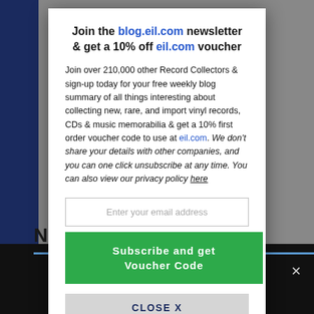Join the blog.eil.com newsletter & get a 10% off eil.com voucher
Join over 210,000 other Record Collectors & sign-up today for your free weekly blog summary of all things interesting about collecting new, rare, and import vinyl records, CDs & music memorabilia & get a 10% first order voucher code to use at eil.com. We don't share your details with other companies, and you can one click unsubscribe at any time. You can also view our privacy policy here
Enter your email address
Subscribe and get Voucher Code
CLOSE X